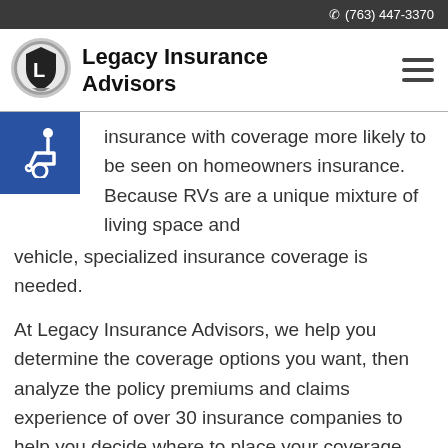(763) 447-3370
Legacy Insurance Advisors
[Figure (logo): Legacy Insurance Advisors circular shield logo with 'L' letter]
[Figure (illustration): Wheelchair accessibility icon on blue background]
insurance with coverage more likely to be seen on homeowners insurance. Because RVs are a unique mixture of living space and vehicle, specialized insurance coverage is needed.
At Legacy Insurance Advisors, we help you determine the coverage options you want, then analyze the policy premiums and claims experience of over 30 insurance companies to help you decide where to place your coverage. Contact us or request